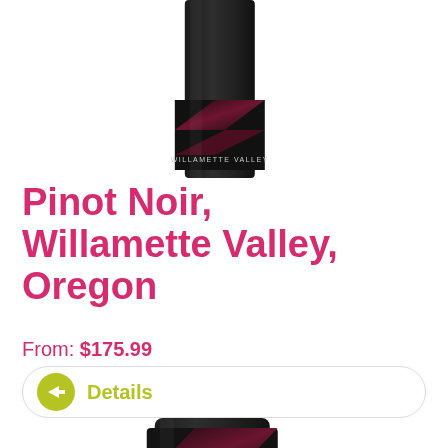[Figure (photo): Top portion of a dark wine bottle with a black label showing diagonal dark red/burgundy geometric design and text 'WILLAMETTE VALLEY' on the label]
Pinot Noir, Willamette Valley, Oregon
From: $175.99
Details
[Figure (photo): Bottom portion of a dark wine bottle with winexpert Private Reserve label featuring black background with diagonal dark red/burgundy geometric design. Text reads 'winexpert' and 'Private Reserve' in script.]